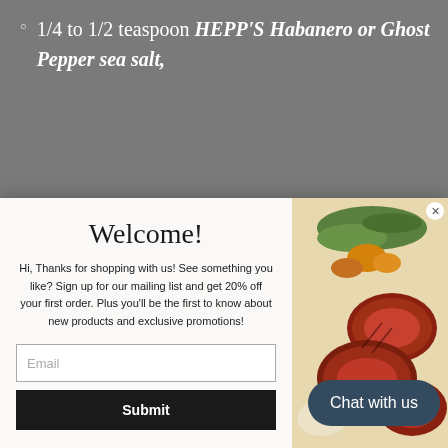1/4 to 1/2 teaspoon HEPP'S Habanero or Ghost Pepper sea salt,
[Figure (photo): Welcome popup modal with email signup form and a photo of sliced steak with vegetables on the right side]
wedges, for serving
DIRECTIONS
Chat with us